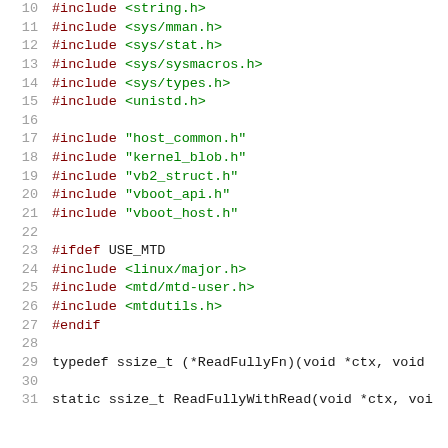Code listing lines 10-31: C source file with #include directives and typedef/static declarations
10  #include <string.h>
11  #include <sys/mman.h>
12  #include <sys/stat.h>
13  #include <sys/sysmacros.h>
14  #include <sys/types.h>
15  #include <unistd.h>
16
17  #include "host_common.h"
18  #include "kernel_blob.h"
19  #include "vb2_struct.h"
20  #include "vboot_api.h"
21  #include "vboot_host.h"
22
23  #ifdef USE_MTD
24  #include <linux/major.h>
25  #include <mtd/mtd-user.h>
26  #include <mtdutils.h>
27  #endif
28
29  typedef ssize_t (*ReadFullyFn)(void *ctx, void
30
31  static ssize_t ReadFullyWithRead(void *ctx, voi